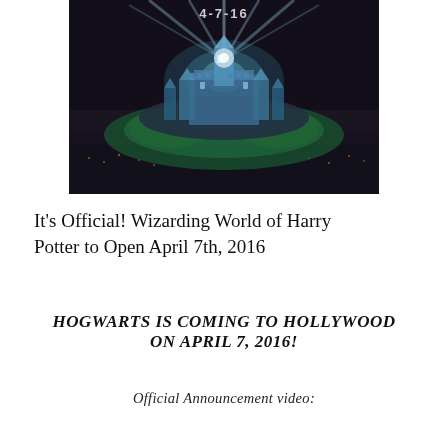[Figure (photo): Nighttime photo of Hogwarts castle illuminated with blue and teal lights and light beams shooting into the sky, surrounded by dark trees. Text '4-7-16' visible at top.]
It's Official! Wizarding World of Harry Potter to Open April 7th, 2016
HOGWARTS IS COMING TO HOLLYWOOD ON APRIL 7, 2016!
Official Announcement video: